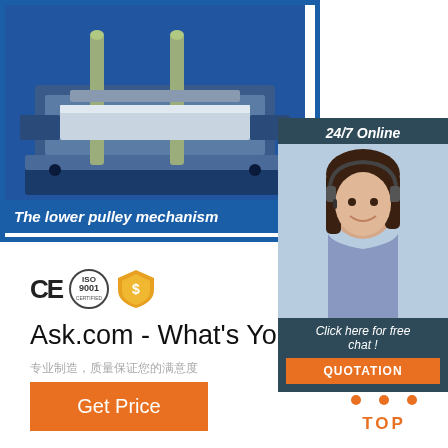[Figure (photo): Lower pulley mechanism - blue metal frame with two vertical rods/pins, industrial engineering component]
The lower pulley mechanism
[Figure (photo): Customer service representative with headset, 24/7 Online chat support panel with QUOTATION button]
[Figure (logo): CE certification mark, ISO 9001 certification badge, and gold shield/safety icon]
Ask.com - What's Your Question?
专业制造,质量保证您的满意度
Get Price
[Figure (logo): TOP logo with orange triangle dots]